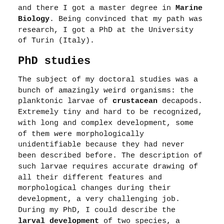and there I got a master degree in Marine Biology. Being convinced that my path was research, I got a PhD at the University of Turin (Italy).
PhD studies
The subject of my doctoral studies was a bunch of amazingly weird organisms: the planktonic larvae of crustacean decapods. Extremely tiny and hard to be recognized, with long and complex development, some of them were morphologically unidentifiable because they had never been described before. The description of such larvae requires accurate drawing of all their different features and morphological changes during their development, a very challenging job. During my PhD, I could describe the larval development of two species, a shrimp and a crab.
Drawing for science